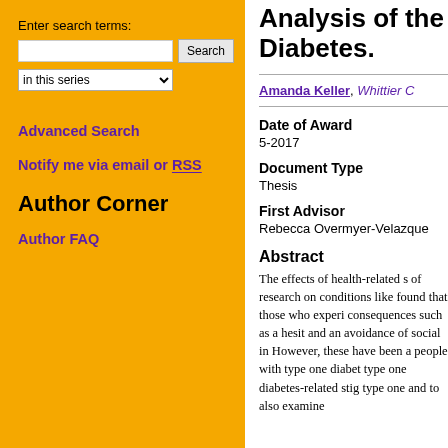Enter search terms:
Search input and button
in this series
Advanced Search
Notify me via email or RSS
Author Corner
Author FAQ
Analysis of the Diabetes.
Amanda Keller, Whittier C
Date of Award
5-2017
Document Type
Thesis
First Advisor
Rebecca Overmyer-Velazque
Abstract
The effects of health-related s of research on conditions like found that those who experi consequences such as a hesit and an avoidance of social in However, these have been a people with type one diabet type one diabetes-related stig type one and to also examine